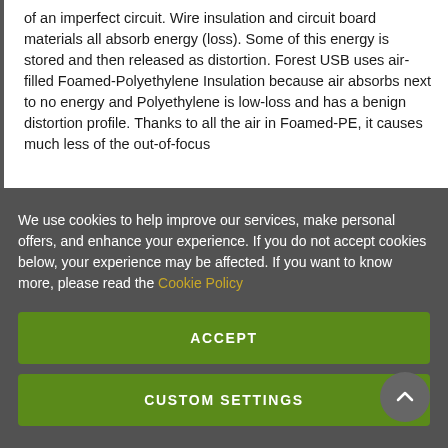of an imperfect circuit. Wire insulation and circuit board materials all absorb energy (loss). Some of this energy is stored and then released as distortion. Forest USB uses air-filled Foamed-Polyethylene Insulation because air absorbs next to no energy and Polyethylene is low-loss and has a benign distortion profile. Thanks to all the air in Foamed-PE, it causes much less of the out-of-focus
We use cookies to help improve our services, make personal offers, and enhance your experience. If you do not accept cookies below, your experience may be affected. If you want to know more, please read the Cookie Policy
ACCEPT
CUSTOM SETTINGS